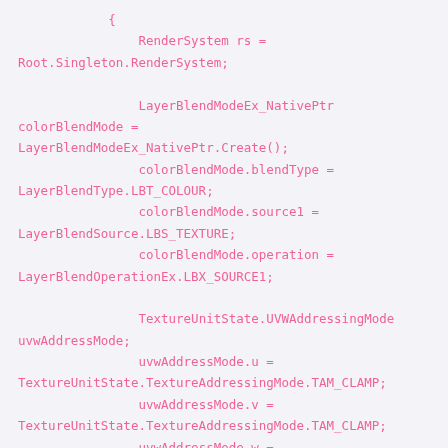{
                RenderSystem rs = Root.Singleton.RenderSystem;

                LayerBlendModeEx_NativePtr colorBlendMode = LayerBlendModeEx_NativePtr.Create();
                colorBlendMode.blendType = LayerBlendType.LBT_COLOUR;
                colorBlendMode.source1 = LayerBlendSource.LBS_TEXTURE;
                colorBlendMode.operation = LayerBlendOperationEx.LBX_SOURCE1;

                TextureUnitState.UVWAddressingMode uvwAddressMode;
                uvwAddressMode.u = TextureUnitState.TextureAddressingMode.TAM_CLAMP;
                uvwAddressMode.v = TextureUnitState.TextureAddressingMode.TAM_CLAMP;
                uvwAddressMode.w = TextureUnitState.TextureAddressingMode.TAM_CLAMP;